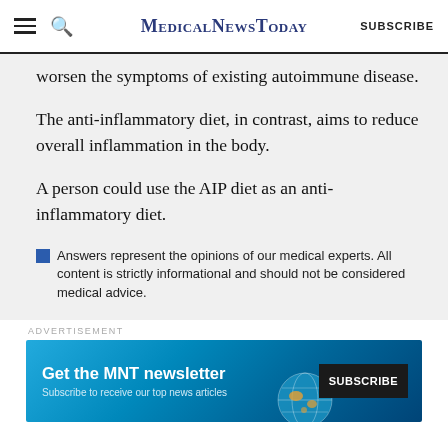MedicalNewsToday | SUBSCRIBE
worsen the symptoms of existing autoimmune disease.
The anti-inflammatory diet, in contrast, aims to reduce overall inflammation in the body.
A person could use the AIP diet as an anti-inflammatory diet.
Answers represent the opinions of our medical experts. All content is strictly informational and should not be considered medical advice.
ADVERTISEMENT
[Figure (infographic): MNT newsletter subscription banner: 'Get the MNT newsletter — Subscribe to receive our top news articles' with a SUBSCRIBE button on dark background with globe graphic]